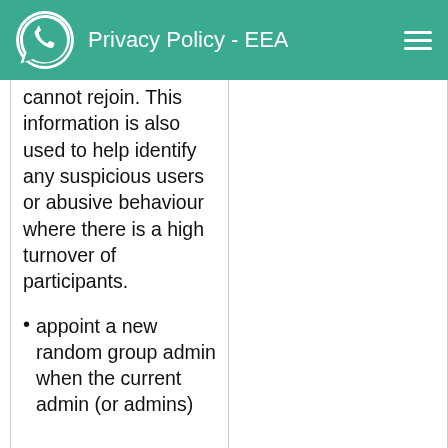Privacy Policy - EEA
cannot rejoin. This information is also used to help identify any suspicious users or abusive behaviour where there is a high turnover of participants.
appoint a new random group admin when the current admin (or admins)